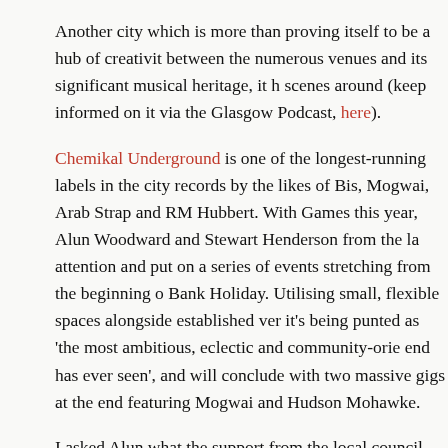Another city which is more than proving itself to be a hub of creativity between the numerous venues and its significant musical heritage, it has one of the best scenes around (keep informed on it via the Glasgow Podcast, here).
Chemikal Underground is one of the longest-running labels in the city, with records by the likes of Bis, Mogwai, Arab Strap and RM Hubbert. With the Commonwealth Games this year, Alun Woodward and Stewart Henderson from the label harnessed the attention and put on a series of events stretching from the beginning of the Games to the Bank Holiday. Utilising small, flexible spaces alongside established venues, it's being punted as 'the most ambitious, eclectic and community-oriented festival the west end has ever seen', and will conclude with two massive gigs at the end of the month featuring Mogwai and Hudson Mohawke.
I asked Alun what the support from the local council had been like ('E... partnership with regeneration project Clyde Gateway). "Like any coun... know where to look there's definitely money and resources. There's lo... people in this city who want to get involved. When we first approache... project, for example, they were really keen.
"Large parts of the city have changed. There are a lot more venues no...